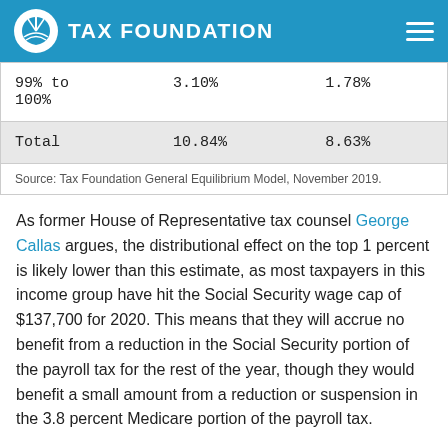TAX FOUNDATION
| 99% to 100% | 3.10% | 1.78% |
| Total | 10.84% | 8.63% |
Source: Tax Foundation General Equilibrium Model, November 2019.
As former House of Representative tax counsel George Callas argues, the distributional effect on the top 1 percent is likely lower than this estimate, as most taxpayers in this income group have hit the Social Security wage cap of $137,700 for 2020. This means that they will accrue no benefit from a reduction in the Social Security portion of the payroll tax for the rest of the year, though they would benefit a small amount from a reduction or suspension in the 3.8 percent Medicare portion of the payroll tax.